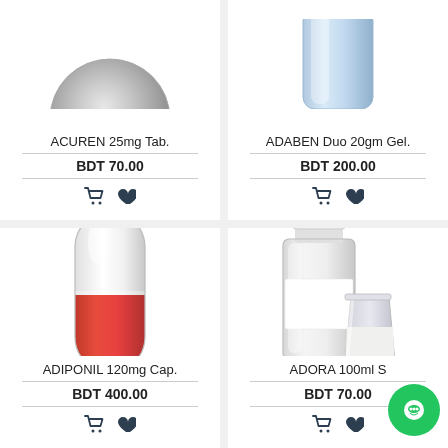[Figure (photo): Round tablet pill, partial view cropped at top]
ACUREN 25mg Tab.
BDT 70.00
[Figure (photo): Gel tube, partial view cropped at top]
ADABEN Duo 20gm Gel.
BDT 200.00
[Figure (photo): Red and white capsule pill]
ADIPONIL 120mg Cap.
BDT 400.00
[Figure (photo): White medicine bottle with measuring cup containing white liquid]
ADORA 100ml S
BDT 70.00